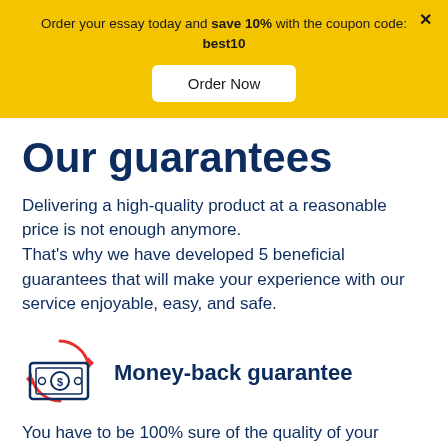Order your essay today and save 10% with the coupon code: best10
Order Now
Our guarantees
Delivering a high-quality product at a reasonable price is not enough anymore. That's why we have developed 5 beneficial guarantees that will make your experience with our service enjoyable, easy, and safe.
[Figure (illustration): Money/cash icon with circular red arrows indicating money-back guarantee]
Money-back guarantee
You have to be 100% sure of the quality of your product to give a